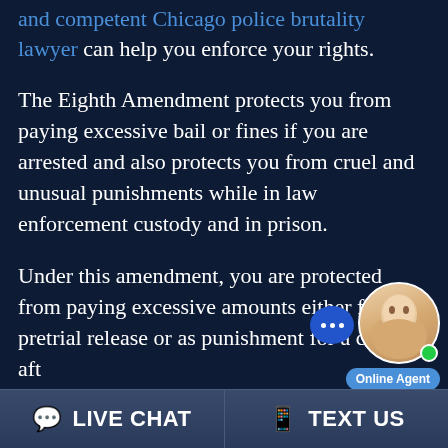and competent Chicago police brutality lawyer can help you enforce your rights.
The Eighth Amendment protects you from paying excessive bail or fines if you are arrested and also protects you from cruel and unusual punishments while in law enforcement custody and in prison.
Under this amendment, you are protected from paying excessive amounts either for pretrial release or as punishment for a crime after conviction. You are also protected from all of police brutality including physical abuse, sexual abuse, harassment and being denied
[Figure (screenshot): Online chat widget with agent photo, chat icon, and Online Agent badge]
LIVE CHAT   TEXT US